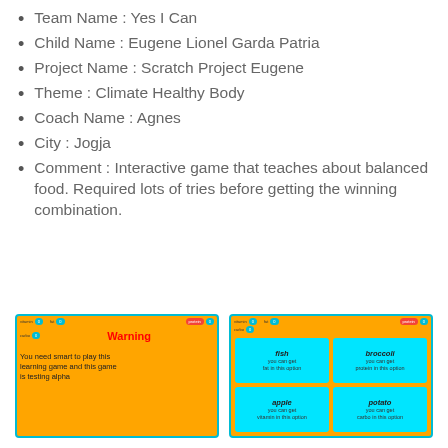Team Name : Yes I Can
Child Name : Eugene Lionel Garda Patria
Project Name : Scratch Project Eugene
Theme : Climate Healthy Body
Coach Name : Agnes
City : Jogja
Comment : Interactive game that teaches about balanced food. Required lots of tries before getting the winning combination.
[Figure (screenshot): Screenshot of a Scratch project showing a Warning screen on an orange background with red 'Warning' text and black message: 'You need smart to play this learning game and this game is testing alpha']
[Figure (screenshot): Screenshot of a Scratch project showing a food selection game on orange background with four cyan tiles: fish (fat), broccoli (protein), apple (vitamin), potato (carbo)]